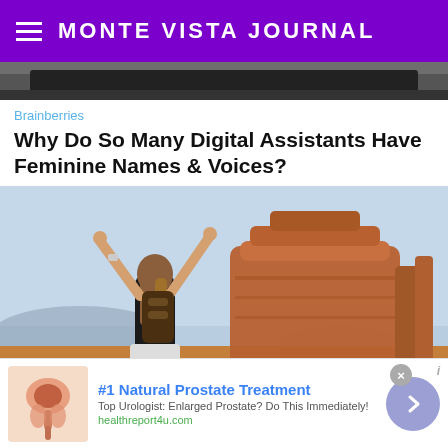MONTE VISTA JOURNAL
[Figure (photo): Partial view of dark device, top strip image]
Brainberries
Why Do So Many Digital Assistants Have Feminine Names & Voices?
[Figure (photo): Woman with backpack and arms raised in V-sign facing a large red rock butte (Monument Valley style), blue sky background]
#1 Natural Prostate Treatment
Top Urologist: Enlarged Prostate? Do This Immediately!
healthreport4u.com